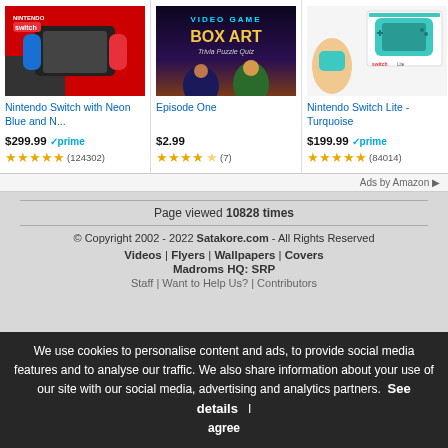[Figure (photo): Amazon ad: Nintendo Switch with Neon Blue and Neon Red controllers product box]
Nintendo Switch with Neon Blue and N...
$299.99 prime (124302 reviews, 5 stars)
[Figure (photo): Amazon ad: Video Game Box Art Trivia puzzle game cover art]
Episode One
$2.99 (7 reviews, 4.5 stars)
[Figure (photo): Amazon ad: Nintendo Switch Lite Turquoise product box]
Nintendo Switch Lite - Turquoise
$199.99 prime (84014 reviews, 5 stars)
Ads by Amazon
Page viewed 10828 times
© Copyright 2002 - 2022 Satakore.com - All Rights Reserved
Videos | Flyers | Wallpapers | Covers
Madroms HQ: SRP
Staff | Want to Help Us? | Contributors
We use cookies to personalise content and ads, to provide social media features and to analyse our traffic. We also share information about your use of our site with our social media, advertising and analytics partners. See details   I agree